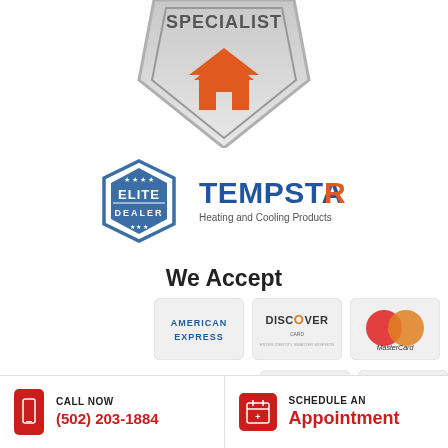[Figure (logo): Partially visible specialist badge/shield logo with orange house icon on grey shield background]
[Figure (logo): Tempstar Elite Dealer logo - hexagonal badge reading ELITE DEALER with stars, alongside TEMPSTAR Heating and Cooling Products text]
We Accept
[Figure (infographic): Payment method icons: American Express, Discover Card, MasterCard, Visa, Pay By Cash, Make A Check]
[Figure (other): Search bar input field with Search button]
CALL NOW (502) 203-1884
SCHEDULE AN Appointment